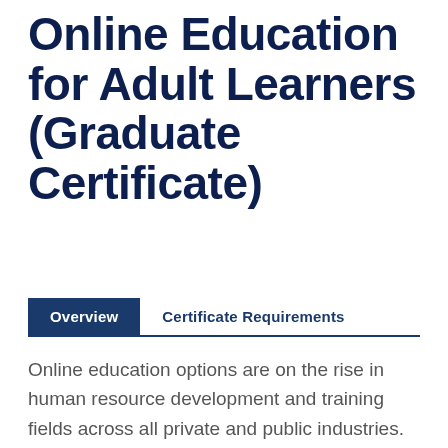Online Education for Adult Learners (Graduate Certificate)
Overview | Certificate Requirements
Online education options are on the rise in human resource development and training fields across all private and public industries. From learning workplace environments and self-directed professional development opportunities to all...